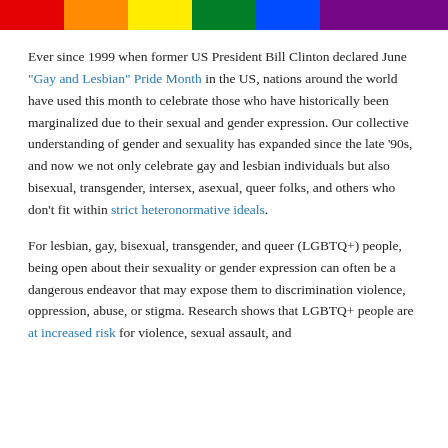[Figure (illustration): Rainbow striped decorative banner at top of page with Pride flag colors (red, orange, yellow, green, blue, purple)]
Ever since 1999 when former US President Bill Clinton declared June “Gay and Lesbian” Pride Month in the US, nations around the world have used this month to celebrate those who have historically been marginalized due to their sexual and gender expression. Our collective understanding of gender and sexuality has expanded since the late ’90s, and now we not only celebrate gay and lesbian individuals but also bisexual, transgender, intersex, asexual, queer folks, and others who don’t fit within strict heteronormative ideals.
For lesbian, gay, bisexual, transgender, and queer (LGBTQ+) people, being open about their sexuality or gender expression can often be a dangerous endeavor that may expose them to discrimination violence, oppression, abuse, or stigma. Research shows that LGBTQ+ people are at increased risk for violence, sexual assault, and